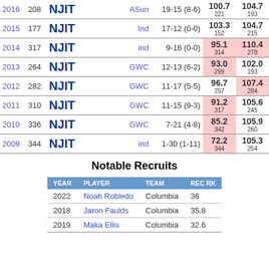| Year | Rank | Team | Conf | Record | Pts | Opp Pts |
| --- | --- | --- | --- | --- | --- | --- |
| 2016 | 208 | NJIT | ASun | 19-15 (8-6) | 100.7
221 | 104.7
193 |
| 2015 | 177 | NJIT | Ind | 17-12 (0-0) | 103.3
152 | 104.7
215 |
| 2014 | 317 | NJIT | ind | 9-16 (0-0) | 95.1
314 | 110.4
278 |
| 2013 | 264 | NJIT | GWC | 12-13 (6-2) | 93.0
299 | 102.0
193 |
| 2012 | 282 | NJIT | GWC | 11-17 (5-5) | 96.7
257 | 107.4
284 |
| 2011 | 310 | NJIT | GWC | 11-15 (9-3) | 91.2
317 | 105.6
245 |
| 2010 | 336 | NJIT | GWC | 7-21 (4-8) | 85.2
342 | 105.9
260 |
| 2009 | 344 | NJIT | ind | 1-30 (1-11) | 72.2
344 | 105.3
254 |
Notable Recruits
| YEAR | PLAYER | TEAM | REC RK |
| --- | --- | --- | --- |
| 2022 | Noah Robledo | Columbia | 36 |
| 2018 | Jaron Faulds | Columbia | 35.8 |
| 2019 | Maka Ellis | Columbia | 32.6 |